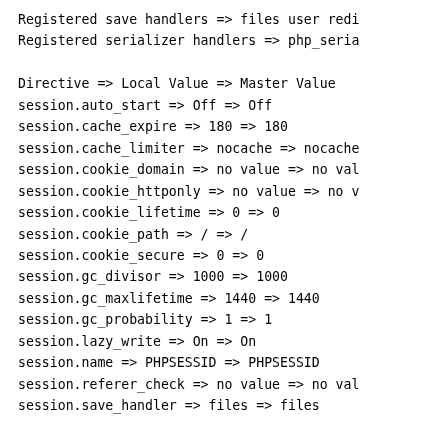Registered save handlers => files user redi
Registered serializer handlers => php_seria

Directive => Local Value => Master Value
session.auto_start => Off => Off
session.cache_expire => 180 => 180
session.cache_limiter => nocache => nocache
session.cookie_domain => no value => no val
session.cookie_httponly => no value => no v
session.cookie_lifetime => 0 => 0
session.cookie_path => / => /
session.cookie_secure => 0 => 0
session.gc_divisor => 1000 => 1000
session.gc_maxlifetime => 1440 => 1440
session.gc_probability => 1 => 1
session.lazy_write => On => On
session.name => PHPSESSID => PHPSESSID
session.referer_check => no value => no val
session.save_handler => files => files